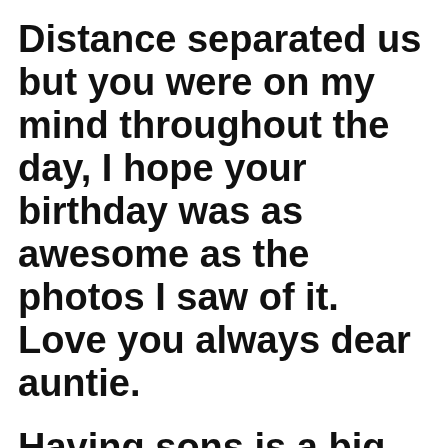Distance separated us but you were on my mind throughout the day, I hope your birthday was as awesome as the photos I saw of it. Love you always dear auntie.
Having sons is a big reason to make you late in many occasions. You are the best one who can understand me. Wishing